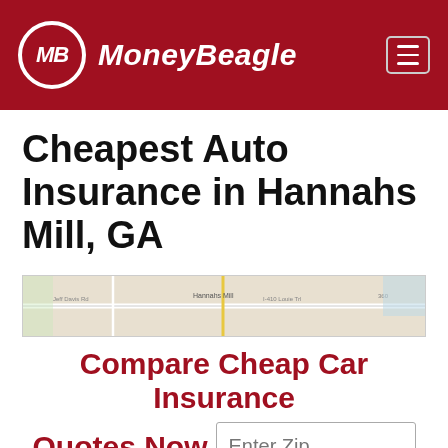[Figure (logo): MoneyBeagle logo — white MB initials in a circle on a dark red background, with 'MoneyBeagle' in white italic text beside it. Hamburger menu icon on the right.]
Cheapest Auto Insurance in Hannahs Mill, GA
[Figure (map): Small map showing Hannahs Mill, GA area with roads and labels.]
Compare Cheap Car Insurance Quotes Now
Enter Zip
Get Rates >